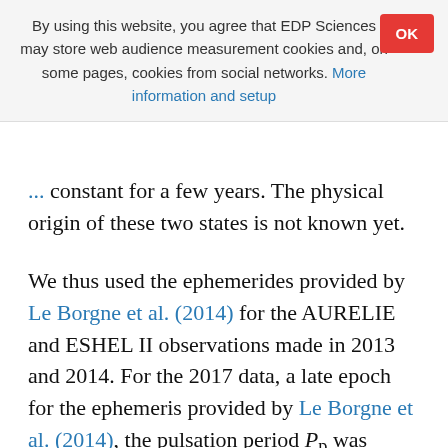By using this website, you agree that EDP Sciences may store web audience measurement cookies and, on some pages, cookies from social networks. More information and setup
constant for a few years. The physical origin of these two states is not known yet.
We thus used the ephemerides provided by Le Borgne et al. (2014) for the AURELIE and ESHEL II observations made in 2013 and 2014. For the 2017 data, a late epoch for the ephemeris provided by Le Borgne et al. (2014), the pulsation period Pp was computed using the difference between the two closest O−C minima from the GEOS RR Lyr web database^3 and close to our 2017 observations. The reference HJD maximum light (HJD0p) was also provided by this database. A summary of the ephemerides used for the different data sets is